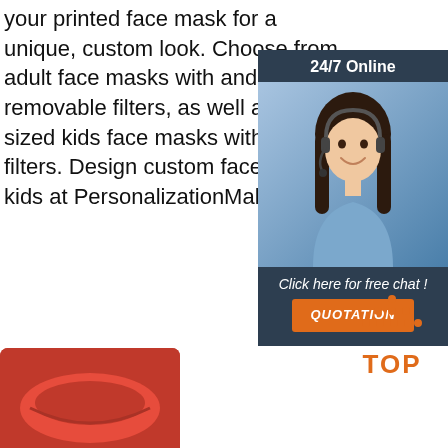your printed face mask for a unique, custom look. Choose from adult face masks with and without removable filters, as well as child-sized kids face masks without filters. Design custom face masks kids at PersonalizationMall.com.
[Figure (infographic): 24/7 Online chat widget with a smiling female customer service representative wearing a headset, blue background, with 'Click here for free chat!' text and an orange QUOTATION button]
Get Price
[Figure (illustration): Orange 'TOP' button with dot-pattern triangle arrow pointing up, for back-to-top navigation]
[Figure (photo): Partial product image at bottom left, red colored custom face mask product]